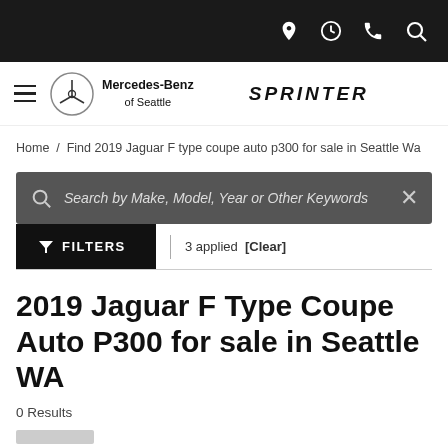Icons: location, clock, phone, search
[Figure (logo): Mercedes-Benz of Seattle logo with hamburger menu and Sprinter brand logo]
Home / Find 2019 Jaguar F type coupe auto p300 for sale in Seattle Wa
Search by Make, Model, Year or Other Keywords
FILTERS | 3 applied [Clear]
2019 Jaguar F Type Coupe Auto P300 for sale in Seattle WA
0 Results